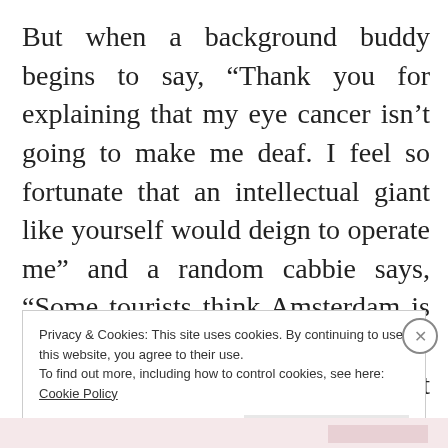But when a background buddy begins to say, “Thank you for explaining that my eye cancer isn’t going to make me deaf. I feel so fortunate that an intellectual giant like yourself would deign to operate me” and a random cabbie says, “Some tourists think Amsterdam is a city of sin, but in truth it is a city of freedom. And in freedom, most people
Privacy & Cookies: This site uses cookies. By continuing to use this website, you agree to their use.
To find out more, including how to control cookies, see here: Cookie Policy
Close and accept